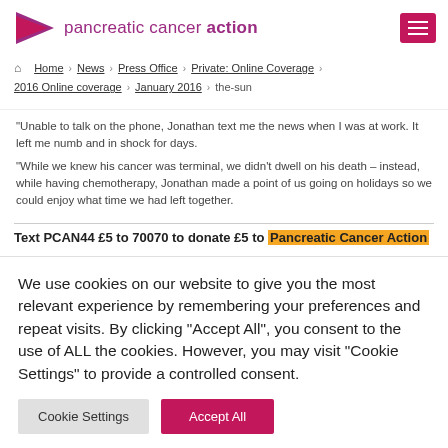pancreatic cancer action
Home > News > Press Office > Private: Online Coverage > 2016 Online coverage > January 2016 > the-sun
"Unable to talk on the phone, Jonathan text me the news when I was at work. It left me numb and in shock for days.
"While we knew his cancer was terminal, we didn't dwell on his death – instead, while having chemotherapy, Jonathan made a point of us going on holidays so we could enjoy what time we had left together.
Text PCAN44 £5 to 70070 to donate £5 to Pancreatic Cancer Action
We use cookies on our website to give you the most relevant experience by remembering your preferences and repeat visits. By clicking "Accept All", you consent to the use of ALL the cookies. However, you may visit "Cookie Settings" to provide a controlled consent.